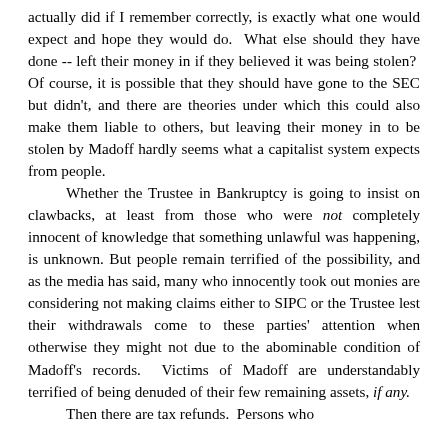actually did if I remember correctly, is exactly what one would expect and hope they would do.  What else should they have done -- left their money in if they believed it was being stolen?  Of course, it is possible that they should have gone to the SEC but didn't, and there are theories under which this could also make them liable to others, but leaving their money in to be stolen by Madoff hardly seems what a capitalist system expects from people.

            Whether the Trustee in Bankruptcy is going to insist on clawbacks, at least from those who were not completely innocent of knowledge that something unlawful was happening, is unknown. But people remain terrified of the possibility, and as the media has said, many who innocently took out monies are considering not making claims either to SIPC or the Trustee lest their withdrawals come to these parties' attention when otherwise they might not due to the abominable condition of Madoff's records.  Victims of Madoff are understandably terrified of being denuded of their few remaining assets, if any.

            Then there are tax refunds.  Persons who